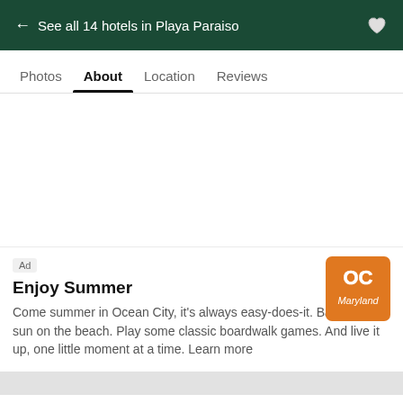← See all 14 hotels in Playa Paraiso
Photos  About  Location  Reviews
[Figure (screenshot): Ad banner with OC Maryland logo (orange square with OC Maryland branding). Ad label shown. Title: Enjoy Summer. Body text: Come summer in Ocean City, it's always easy-does-it. Bask in the sun on the beach. Play some classic boardwalk games. And live it up, one little moment at a time. Learn more]
Expedia.com
US$237  US$179
View deal
Special offer